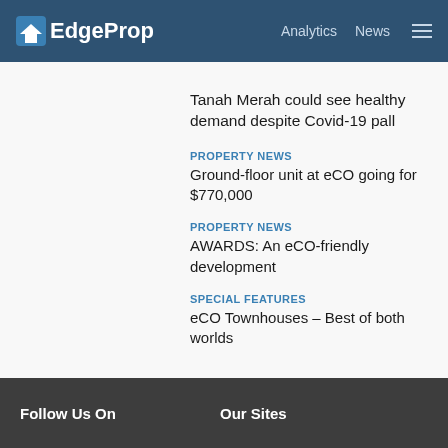EdgeProp  Analytics  News
Tanah Merah could see healthy demand despite Covid-19 pall
PROPERTY NEWS
Ground-floor unit at eCO going for $770,000
PROPERTY NEWS
AWARDS: An eCO-friendly development
SPECIAL FEATURES
eCO Townhouses – Best of both worlds
Follow Us On   Our Sites